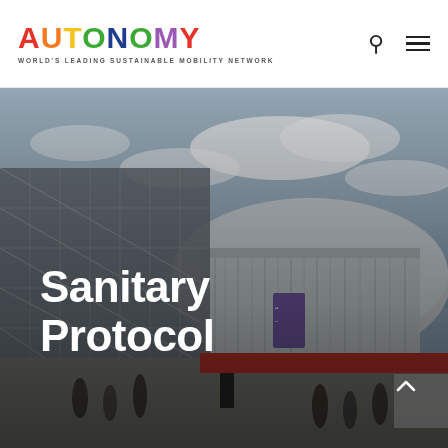[Figure (logo): AUTONOMY logo — colorful letters spelling AUTONOMY with tagline WORLD'S LEADING SUSTAINABLE MOBILITY NETWORK]
[Figure (photo): Large hero photograph of a modern convention/exhibition center building with steel lattice structure, cloudy sky, and people in foreground, with a purple banner visible on the facade]
Sanitary Protocol